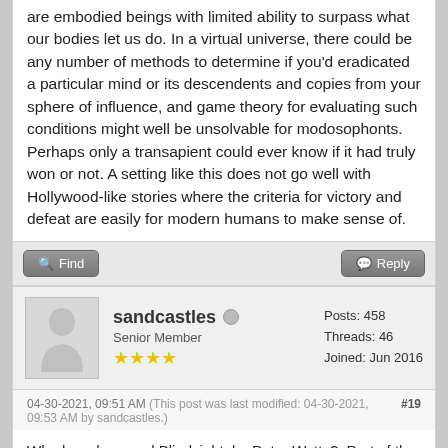are embodied beings with limited ability to surpass what our bodies let us do. In a virtual universe, there could be any number of methods to determine if you'd eradicated a particular mind or its descendents and copies from your sphere of influence, and game theory for evaluating such conditions might well be unsolvable for modosophonts. Perhaps only a transapient could ever know if it had truly won or not. A setting like this does not go well with Hollywood-like stories where the criteria for victory and defeat are easily for modern humans to make sense of.
Find   Reply
sandcastles   Senior Member ★★★★   Posts: 458   Threads: 46   Joined: Jun 2016
04-30-2021, 09:51 AM (This post was last modified: 04-30-2021, 09:53 AM by sandcastles.)   #19
Who here has read Blindsight, by Peter Watts?  Part of the premise is advanced aliens with intelligence but not